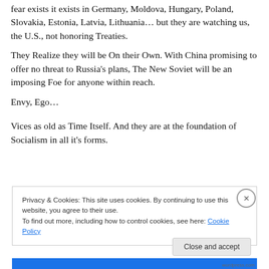The wounds are deep in the root of European. If genuine fear exists it exists in Germany, Moldova, Hungary, Poland, Slovakia, Estonia, Latvia, Lithuania… but they are watching us, the U.S., not honoring Treaties. They Realize they will be On their Own.  With China promising to offer no threat to Russia's plans, The New Soviet will be an imposing Foe for anyone within reach.

Envy, Ego…

Vices as old as Time Itself.  And they are at the foundation of Socialism in all it's forms.
Privacy & Cookies: This site uses cookies. By continuing to use this website, you agree to their use.
To find out more, including how to control cookies, see here: Cookie Policy